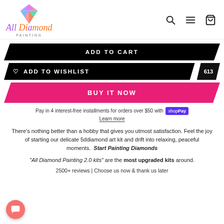[Figure (logo): All Diamond Painting logo with colorful diamond gem and stylized text]
ADD TO CART
ADD TO WISHLIST  613
BUY IT NOW
Pay in 4 interest-free installments for orders over $50 with Shop Pay Learn more
There's nothing better than a hobby that gives you utmost satisfaction. Feel the joy of starting our delicate 5ddiamond art kit and drift into relaxing, peaceful moments. Start Painting Diamonds
"All Diamond Painting 2.0 kits" are the most upgraded kits around.
2500+ reviews | Choose us now & thank us later